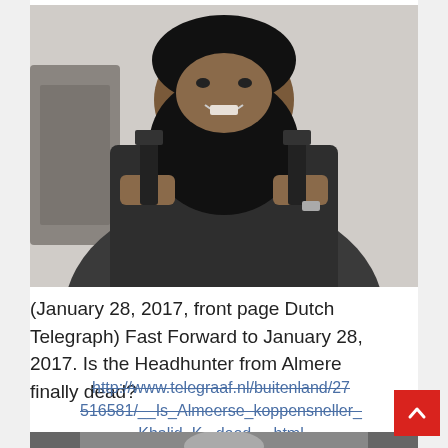[Figure (photo): A man with a large black beard holding two pistols, one in each hand, smiling at the camera. He is wearing a dark jacket. Background is a light-colored interior.]
(January 28, 2017, front page Dutch Telegraph) Fast Forward to January 28, 2017. Is the Headhunter from Almere finally dead?
http://www.telegraaf.nl/buitenland/27516581/__Is_Almeerse_koppensneller_Khalid_K._dood__.html
[Figure (photo): Partial view of another photo at the bottom of the page, cropped.]